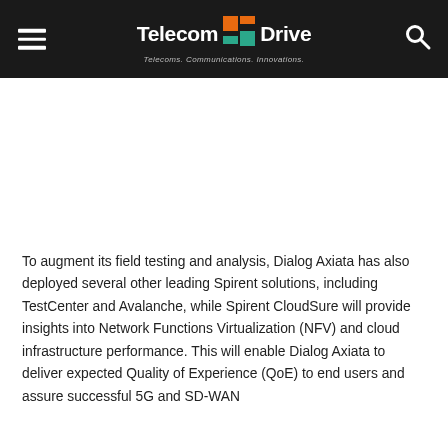Telecom Drive — Telecoms. Communications. Innovations.
[Figure (other): Advertisement / blank area below header]
To augment its field testing and analysis, Dialog Axiata has also deployed several other leading Spirent solutions, including TestCenter and Avalanche, while Spirent CloudSure will provide insights into Network Functions Virtualization (NFV) and cloud infrastructure performance. This will enable Dialog Axiata to deliver expected Quality of Experience (QoE) to end users and assure successful 5G and SD-WAN